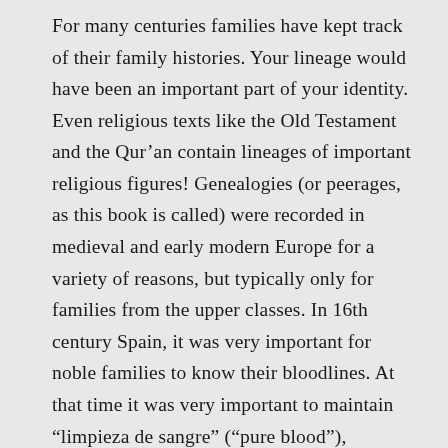For many centuries families have kept track of their family histories. Your lineage would have been an important part of your identity. Even religious texts like the Old Testament and the Qur'an contain lineages of important religious figures! Genealogies (or peerages, as this book is called) were recorded in medieval and early modern Europe for a variety of reasons, but typically only for families from the upper classes. In 16th century Spain, it was very important for noble families to know their bloodlines. At that time it was very important to maintain “limpieza de sangre” (“pure blood”), meaning that they did not have any Jewish or Muslim ancestors. Limpieza de sangre was a requirement for most kinds of governmental or religious positions, and you